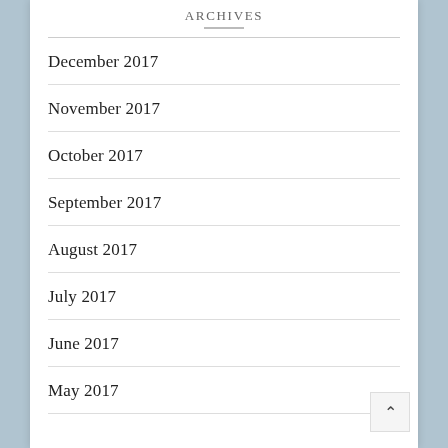Archives
December 2017
November 2017
October 2017
September 2017
August 2017
July 2017
June 2017
May 2017